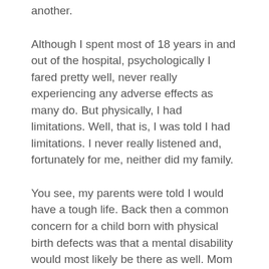another.
Although I spent most of 18 years in and out of the hospital, psychologically I fared pretty well, never really experiencing any adverse effects as many do. But physically, I had limitations. Well, that is, I was told I had limitations. I never really listened and, fortunately for me, neither did my family.
You see, my parents were told I would have a tough life. Back then a common concern for a child born with physical birth defects was that a mental disability would most likely be there as well. Mom and Dad were also told, because of my hip and pelvic issues, I would likely never walk. What's worse, my unusual anatomy and the potential for infection from surgeries and what not gave me a relatively short life expectancy – 5-10 years. I have to say, my parents and my siblings had a level of faith and determination